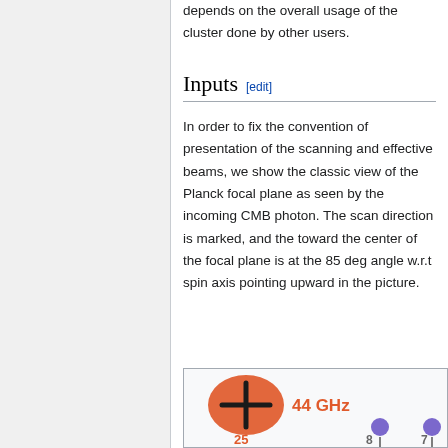depends on the overall usage of the cluster done by other users.
Inputs [edit]
In order to fix the convention of presentation of the scanning and effective beams, we show the classic view of the Planck focal plane as seen by the incoming CMB photon. The scan direction is marked, and the toward the center of the focal plane is at the 85 deg angle w.r.t spin axis pointing upward in the picture.
[Figure (illustration): Partial view of Planck focal plane diagram showing a large red ellipse with a cross (44 GHz label in orange/red), and smaller purple circles labeled 25, 8, 7 with downward arrows, against a light background.]